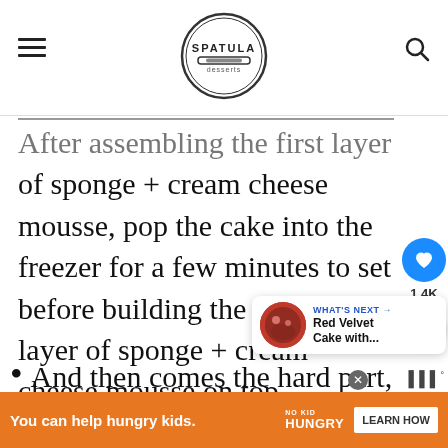Spatula Desserts
After assembling the first layer of sponge + cream cheese mousse, pop the cake into the freezer for a few minutes to set before building the second layer of sponge + cream cheese mousse on top
And then comes the hard part, let the whole cake set with
[Figure (screenshot): What's Next promo box showing Red Velvet Cake with... link]
[Figure (infographic): Orange advertisement bar: You can help hungry kids. No Kid Hungry. Learn How button.]